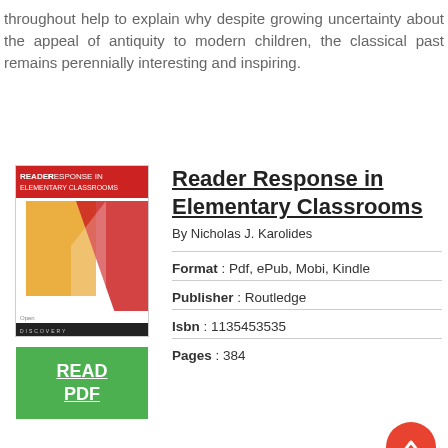throughout help to explain why despite growing uncertainty about the appeal of antiquity to modern children, the classical past remains perennially interesting and inspiring.
Reader Response in Elementary Classrooms
By Nicholas J. Karolides
Format : Pdf, ePub, Mobi, Kindle
Publisher : Routledge
Isbn : 1135453535
Pages : 384